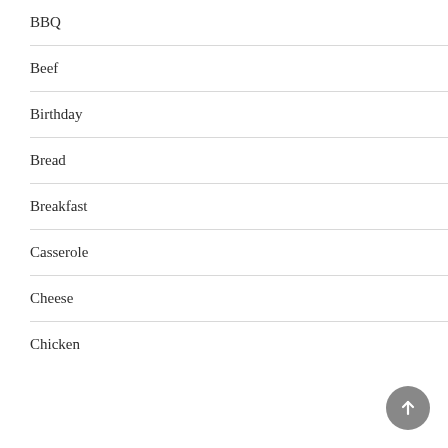BBQ
Beef
Birthday
Bread
Breakfast
Casserole
Cheese
Chicken